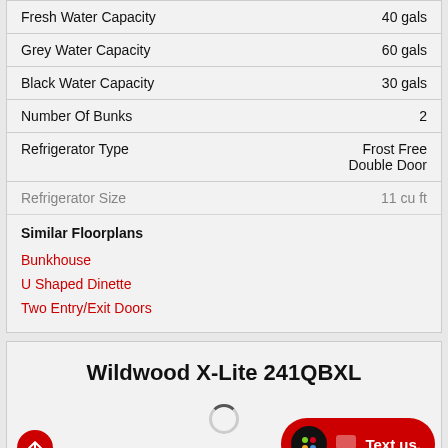| Feature | Value |
| --- | --- |
| Fresh Water Capacity | 40 gals |
| Grey Water Capacity | 60 gals |
| Black Water Capacity | 30 gals |
| Number Of Bunks | 2 |
| Refrigerator Type | Frost Free Double Door |
| Refrigerator Size | 11 cu ft |
Similar Floorplans
Bunkhouse
U Shaped Dinette
Two Entry/Exit Doors
Wildwood X-Lite 241QBXL